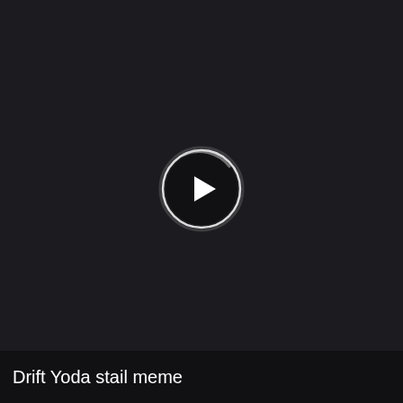[Figure (screenshot): Dark video player with a circular play button centered on a near-black background]
Drift Yoda stail meme